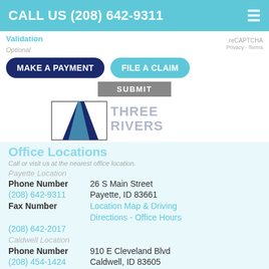CALL US (208) 642-9311
Validation
Optional
reCAPTCHA
MAKE A PAYMENT
FILE A CLAIM
SUBMIT
[Figure (logo): Three Rivers Insurance logo with stylized road/river graphic and 'THREE RIVERS INSURANCE' text]
Office Locations
Call or visit us at our nearest office location.
Payette Location
Phone Number  26 S Main Street
(208) 642-9311  Payette, ID 83661
Fax Number  Location Map & Driving Directions - Office Hours
(208) 642-2017
Caldwell Location
Phone Number  910 E Cleveland Blvd
(208) 454-1424  Caldwell, ID 83605
Fax Number  Location Map & Driving Directions - Office Hours
(08) 459-4730
ise Office
Phone Number  10159 W Overland